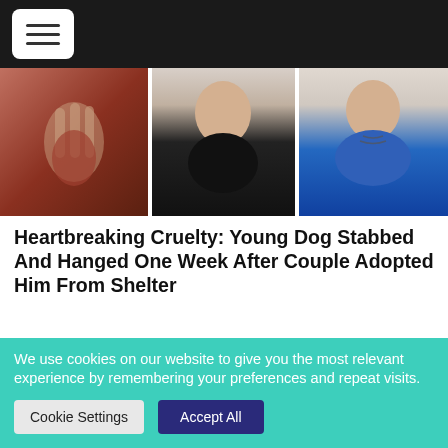Navigation menu (hamburger icon)
[Figure (photo): Three photos: left shows a hand holding something red/dark, center shows a person with tattoo on neck wearing black shirt, right shows a person with neck tattoos wearing a blue hoodie.]
Heartbreaking Cruelty: Young Dog Stabbed And Hanged One Week After Couple Adopted Him From Shelter
Read More
SIGN PETITION
We use cookies on our website to give you the most relevant experience by remembering your preferences and repeat visits.
Cookie Settings
Accept All